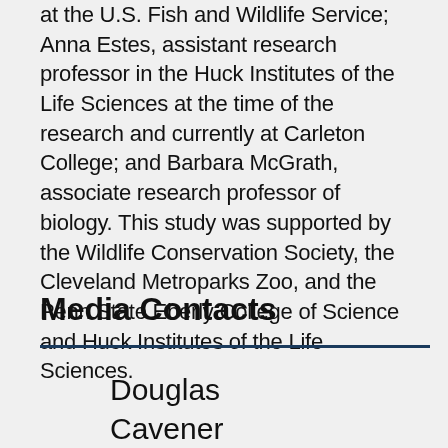at the U.S. Fish and Wildlife Service; Anna Estes, assistant research professor in the Huck Institutes of the Life Sciences at the time of the research and currently at Carleton College; and Barbara McGrath, associate research professor of biology. This study was supported by the Wildlife Conservation Society, the Cleveland Metroparks Zoo, and the Penn State Eberly College of Science and Huck Institutes of the Life Sciences.
Media Contacts
Douglas Cavener